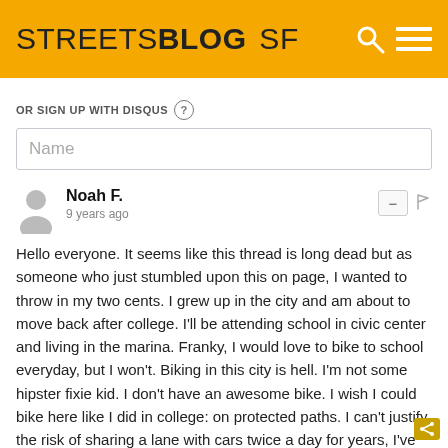STREETSBLOG SF
OR SIGN UP WITH DISQUS
Name
Noah F.
9 years ago
Hello everyone. It seems like this thread is long dead but as someone who just stumbled upon this on page, I wanted to throw in my two cents. I grew up in the city and am about to move back after college. I'll be attending school in civic center and living in the marina. Franky, I would love to bike to school everyday, but I won't. Biking in this city is hell. I'm not some hipster fixie kid. I don't have an awesome bike. I wish I could bike here like I did in college: on protected paths. I can't justify the risk of sharing a lane with cars twice a day for years, I've just seen and heard too many horror stories. If i could bike along Polk St. everyday in safe manner, guess where I'd spend a great deal of my time and my money?